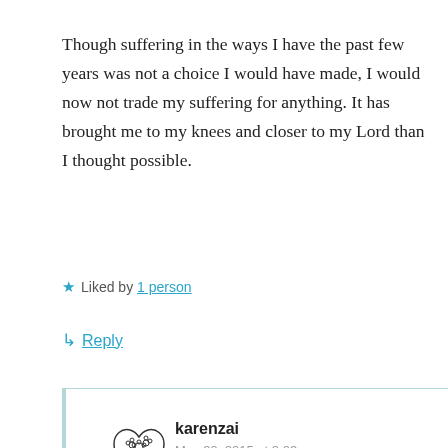Though suffering in the ways I have the past few years was not a choice I would have made, I would now not trade my suffering for anything. It has brought me to my knees and closer to my Lord than I thought possible.
★ Liked by 1 person
↳ Reply
karenzai
May 20, 2015 at 2:03 pm
Dear Kathleen, I just read your story on your blog. I'm so sorry about your deep